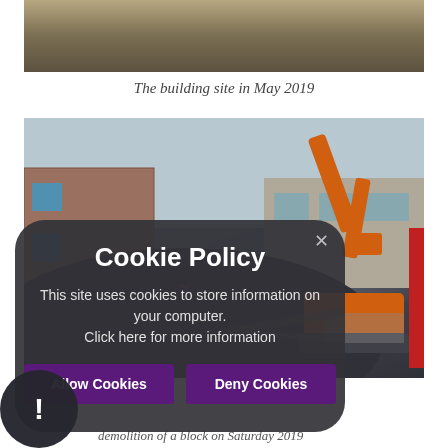[Figure (photo): Aerial view of building site in May 2019, shown cropped at top]
The building site in May 2019
[Figure (photo): Demolition of a block on Saturday 2019 — an orange excavator demolishing a brick building, with a large mound of rubble]
[Figure (infographic): Cookie Policy overlay on top of the photo. Title: Cookie Policy. Text: This site uses cookies to store information on your computer. Click here for more information. Buttons: Allow Cookies, Deny Cookies. Close (x) button top right. Warning/info circle bottom left with exclamation mark.]
demolition of a block on Saturday 2019